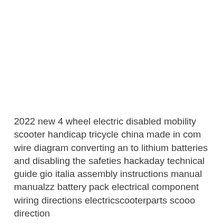2022 new 4 wheel electric disabled mobility scooter handicap tricycle china made in com wire diagram converting an to lithium batteries and disabling the safeties hackaday technical guide gio italia assembly instructions manual manualzz battery pack electrical component wiring directions electricscooterparts scooo direction